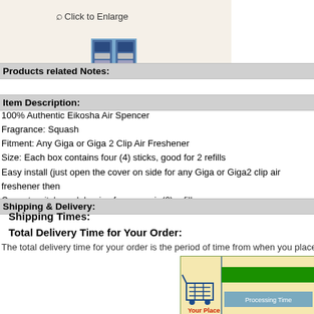[Figure (photo): Product thumbnail image area with beige background]
Click to Enlarge
[Figure (photo): Small product thumbnail showing Eikosha Air Spencer product boxes]
Products related Notes:
Item Description:
100% Authentic Eikosha Air Spencer
Fragrance: Squash
Fitment: Any Giga or Giga 2 Clip Air Freshener
Size: Each box contains four (4) sticks, good for 2 refills
Easy install (just open the cover on side for any Giga or Giga2 clip air freshener then
Cannot switch model, price for one pair (2) refill.
Shipping & Delivery:
Shipping Times:
Total Delivery Time for Your Order:
The total delivery time for your order is the period of time from when you place you
[Figure (infographic): Shipping timeline diagram showing processing time with a shopping cart icon labeled 'Your Place', a vertical line, a green bar, and a 'Processing Time' label on a beige background]